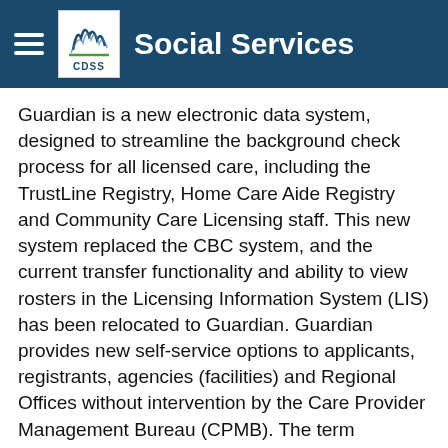Social Services
Guardian is a new electronic data system, designed to streamline the background check process for all licensed care, including the TrustLine Registry, Home Care Aide Registry and Community Care Licensing staff. This new system replaced the CBC system, and the current transfer functionality and ability to view rosters in the Licensing Information System (LIS) has been relocated to Guardian. Guardian provides new self-service options to applicants, registrants, agencies (facilities) and Regional Offices without intervention by the Care Provider Management Bureau (CPMB). The term "agencies" is inclusive of all licensed facilities, Foster Family Agencies, Home Care Organizations and TrustLine agencies.
For more information, please refer to PIN 20-03-CCLD